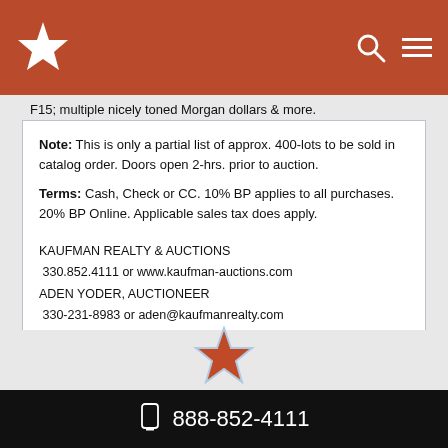[Figure (logo): Kaufman Realty star logo on brown/red header bar with search and menu icons]
F15; multiple nicely toned Morgan dollars & more.
Note: This is only a partial list of approx. 400-lots to be sold in catalog order. Doors open 2-hrs. prior to auction.
Terms: Cash, Check or CC. 10% BP applies to all purchases. 20% BP Online. Applicable sales tax does apply.
KAUFMAN REALTY & AUCTIONS
330.852.4111 or www.kaufman-auctions.com
ADEN YODER, AUCTIONEER
330-231-8983 or aden@kaufmanrealty.com
DERRICK KANDEL, AUCTIONEER
330-231-4524 or derrick@kaufmanrealty.com
[Figure (logo): Kaufman star logo in footer area]
888-852-4111